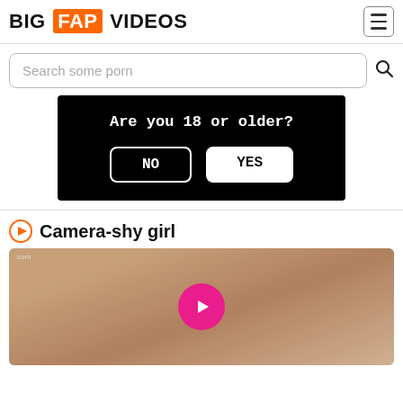BIG FAP VIDEOS
Search some porn
[Figure (screenshot): Age verification dialog on black background with text 'Are you 18 or older?' and two buttons: NO and YES]
Camera-shy girl
[Figure (photo): Video thumbnail showing a blurred/soapy figure with a pink play button overlay and .com watermark]